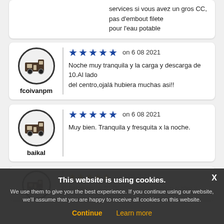services si vous avez un gros CC, pas d'embout filete pour l'eau potable
[Figure (illustration): User avatar circle with motorhome icon, username fcoivanpm]
5 stars on 6 08 2021 - Noche muy tranquila y la carga y descarga de 10.Al lado del centro,ojalá hubiera muchas asi!!
[Figure (illustration): User avatar circle with motorhome icon, username baikal]
5 stars on 6 08 2021 - Muy bien. Tranquila y fresquita x la noche.
This website is using cookies. We use them to give you the best experience. If you continue using our website, we'll assume that you are happy to receive all cookies on this website. Continue | Learn more